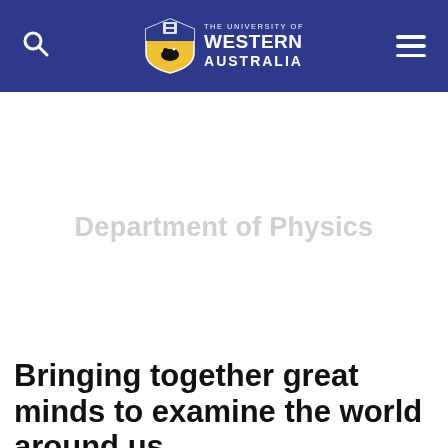THE UNIVERSITY OF WESTERN AUSTRALIA — Department of Physics
[Figure (logo): University of Western Australia logo with shield crest and text: THE UNIVERSITY OF WESTERN AUSTRALIA]
Department of Physics
Bringing together great minds to examine the world around us